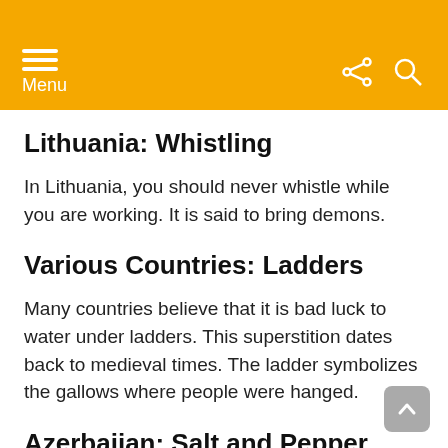Menu
Lithuania: Whistling
In Lithuania, you should never whistle while you are working. It is said to bring demons.
Various Countries: Ladders
Many countries believe that it is bad luck to water under ladders. This superstition dates back to medieval times. The ladder symbolizes the gallows where people were hanged.
Azerbaijan: Salt and Pepper